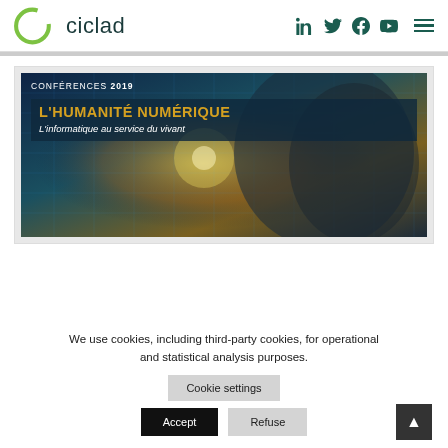ciclad — navigation with LinkedIn, Twitter, Facebook, YouTube icons and hamburger menu
[Figure (illustration): Conference poster image: CONFÉRENCES 2019 — L'HUMANITÉ NUMÉRIQUE — L'informatique au service du vivant. Digital human head profile with glowing neural network / circuit overlay, blue and golden tones.]
We use cookies, including third-party cookies, for operational and statistical analysis purposes.
Cookie settings
Accept
Refuse